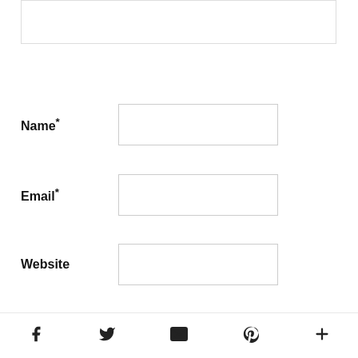[Figure (screenshot): Partial text area input box cut off at top of page]
Name*
Email*
Website
POST COMMENT
Subscribe and follow
[Figure (infographic): Social media footer bar with Facebook, Twitter, Email/RSS, Pinterest, and More (+) icons]